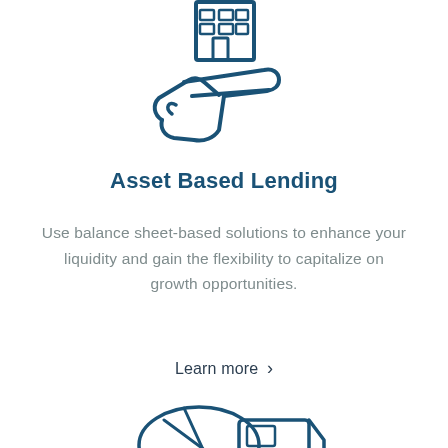[Figure (illustration): Icon of a building/house being held on an open hand, drawn in dark blue outline style — representing asset based lending]
Asset Based Lending
Use balance sheet-based solutions to enhance your liquidity and gain the flexibility to capitalize on growth opportunities.
Learn more >
[Figure (illustration): Icon of a concrete mixer truck, drawn in dark blue outline style]